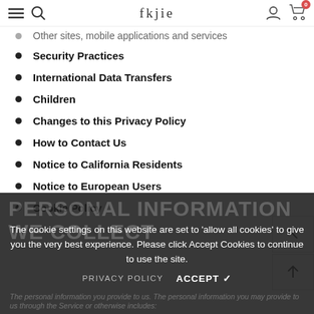fkjie
Other sites, mobile applications and services
Security Practices
International Data Transfers
Children
Changes to this Privacy Policy
How to Contact Us
Notice to California Residents
Notice to European Users
Cookie Policy
PERSONAL INFORMATION WE COLLECT
The cookie settings on this website are set to 'allow all cookies' to give you the very best experience. Please click Accept Cookies to continue to use the site.
The personal information you provide to us. The personal information you may provide to us through the Service or otherwise includes:
PRIVACY POLICY   ACCEPT ✓